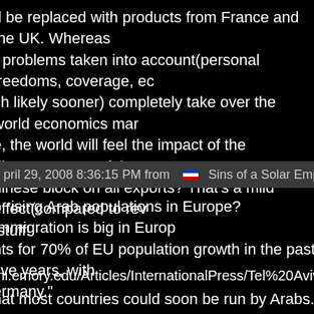d be replaced with products from France and the UK. Whereas r problems taken into account(personal freedoms, coverage, ec ch likely sooner) completely take over the world economics mar e, the world will feel the impact of the disappearance of the US. hinese block on all exports? That's a mild effect(compared to rev stuff!
pril 29, 2008 8:36:15 PM from  Sins of a Solar Empire Forums
e rising Arab populations in Europe? Immigration is big in Europ nts for 70% of EU population growth in the past five years, with ermany."
mi.emory.edu/Articles/InternationalPress/Tel%20Aviv%20Notes.
hat most countries could soon be run by Arabs. Arabs don't like u re running around shooting people in Arab countries. What prob